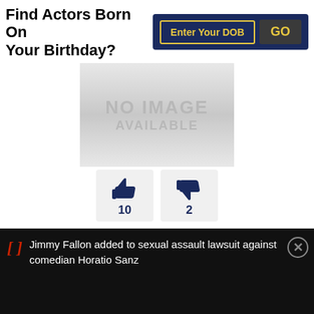Find Actors Born On Your Birthday?
Enter Your DOB
GO
[Figure (other): No image available placeholder — grey gradient box with text NO IMAGE AVAILABLE]
10
2
As: Cast
Director: Paul Schneider
Genres: Romance, Family, Sci-Fi, Comedy
Jimmy Fallon added to sexual assault lawsuit against comedian Horatio Sanz